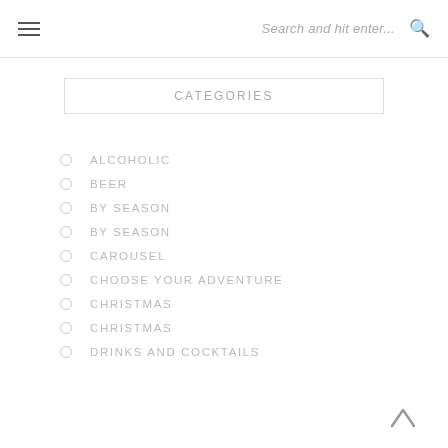Search and hit enter...
CATEGORIES
ALCOHOLIC
BEER
BY SEASON
BY SEASON
CAROUSEL
CHOOSE YOUR ADVENTURE
CHRISTMAS
CHRISTMAS
DRINKS AND COCKTAILS